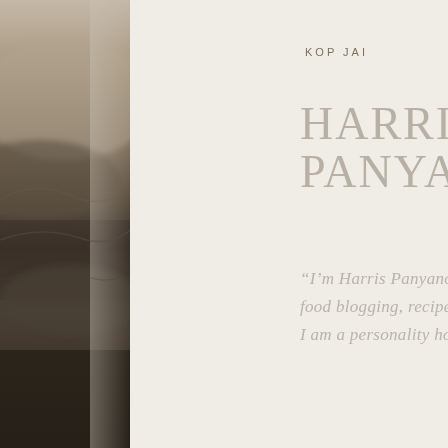[Figure (photo): A moody aerial or landscape photograph in dark earth tones — browns, dark greens, and shadows — forming a vertical left-side strip]
KOP JAI
HARRIS PANYANOVOUNG
“I’m Harris Panyanouvong. I do food blogging, recipes, comedy, and I am a personality host.”